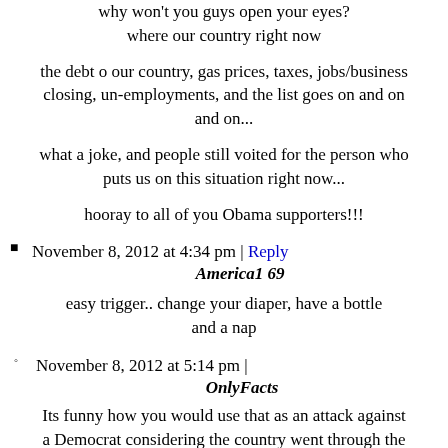why won't you guys open your eyes? where our country right now
the debt o our country, gas prices, taxes, jobs/business closing, un-employments, and the list goes on and on and on...
what a joke, and people still voited for the person who puts us on this situation right now...
hooray to all of you Obama supporters!!!
November 8, 2012 at 4:34 pm | Reply
America1 69
easy trigger.. change your diaper, have a bottle and a nap
November 8, 2012 at 5:14 pm |
OnlyFacts
Its funny how you would use that as an attack against a Democrat considering the country went through the same thing with George W. Bush. What a bunch of idiots, voting for a president that started two wars, lied to the American public, and polarized Washington to a